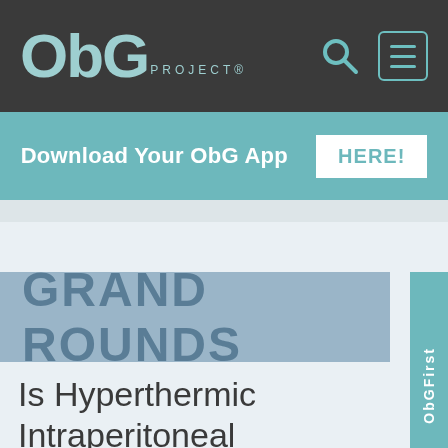ObG PROJECT®
Download Your ObG App HERE!
GRAND ROUNDS
Is Hyperthermic Intraperitoneal Chemotherapy the Next Step Forward in the Treatment of Ovarian